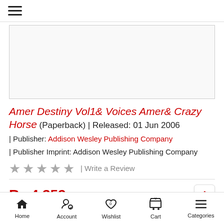☰ (hamburger menu)
[Figure (photo): Book cover image placeholder (white/light gray box)]
Amer Destiny Vol1& Voices Amer& Crazy Horse (Paperback) | Released: 01 Jun 2006
| Publisher: Addison Wesley Publishing Company
| Publisher Imprint: Addison Wesley Publishing Company
★ ★ ★ ★ ★ | Write a Review
Rs.4,352
Home | Account | Wishlist 0 | Cart 0 | Categories